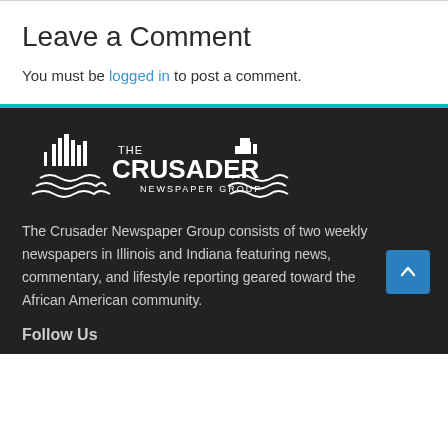Leave a Comment
You must be logged in to post a comment.
[Figure (logo): The Crusader Newspaper Group logo — white text and cityscape/wave graphic on dark background]
The Crusader Newspaper Group consists of two weekly newspapers in Illinois and Indiana featuring news, commentary, and lifestyle reporting geared toward the African American community.
Follow Us